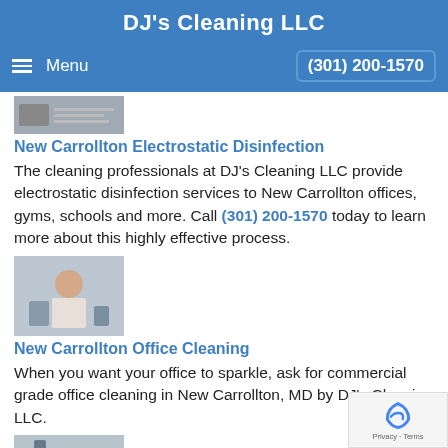DJ's Cleaning LLC
Menu   (301) 200-1570
[Figure (photo): Small thumbnail photo, partially visible at top of content area]
New Carrollton Electrostatic Disinfection
The cleaning professionals at DJ's Cleaning LLC provide electrostatic disinfection services to New Carrollton offices, gyms, schools and more. Call (301) 200-1570 today to learn more about this highly effective process.
[Figure (photo): Photo of a person cleaning an office]
New Carrollton Office Cleaning
When you want your office to sparkle, ask for commercial grade office cleaning in New Carrollton, MD by DJ's Cleaning LLC.
[Figure (photo): Photo of someone mopping a floor]